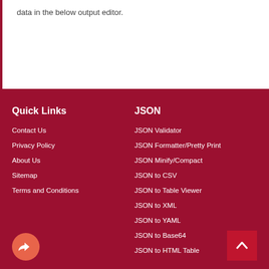data in the below output editor.
Quick Links
JSON
Contact Us
Privacy Policy
About Us
Sitemap
Terms and Conditions
JSON Validator
JSON Formatter/Pretty Print
JSON Minify/Compact
JSON to CSV
JSON to Table Viewer
JSON to XML
JSON to YAML
JSON to Base64
JSON to HTML Table